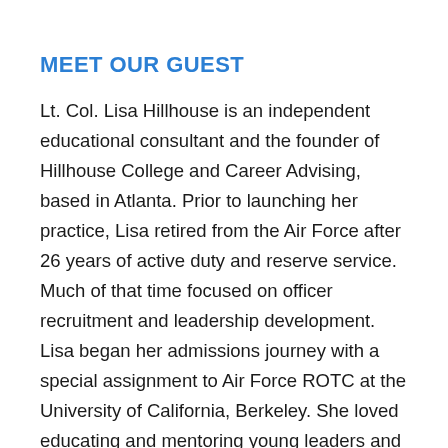MEET OUR GUEST
Lt. Col. Lisa Hillhouse is an independent educational consultant and the founder of Hillhouse College and Career Advising, based in Atlanta. Prior to launching her practice, Lisa retired from the Air Force after 26 years of active duty and reserve service. Much of that time focused on officer recruitment and leadership development. Lisa began her admissions journey with a special assignment to Air Force ROTC at the University of California, Berkeley. She loved educating and mentoring young leaders and continued that